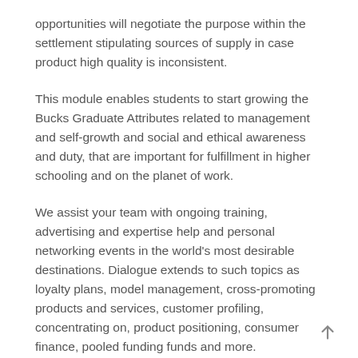opportunities will negotiate the purpose within the settlement stipulating sources of supply in case product high quality is inconsistent.
This module enables students to start growing the Bucks Graduate Attributes related to management and self-growth and social and ethical awareness and duty, that are important for fulfillment in higher schooling and on the planet of work.
We assist your team with ongoing training, advertising and expertise help and personal networking events in the world's most desirable destinations. Dialogue extends to such topics as loyalty plans, model management, cross-promoting products and services, customer profiling, concentrating on, product positioning, consumer finance, pooled funding funds and more.